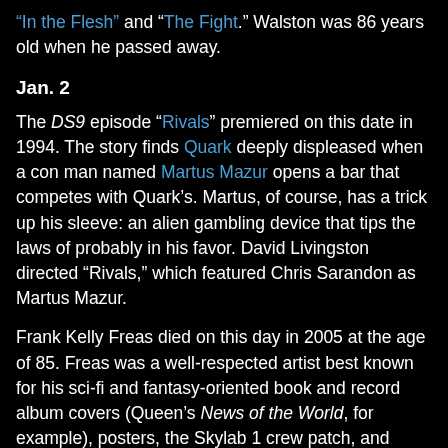“In the Flesh” and “The Fight.” Walston was 86 years old when he passed away.
Jan. 2
The DS9 episode “Rivals” premiered on this date in 1994. The story finds Quark deeply displeased when a con man named Martus Mazur opens a bar that competes with Quark’s. Martus, of course, has a trick up his sleeve: an alien gambling device that tips the laws of probably in his favor. David Livingston directed “Rivals,” which featured Chris Sarandon as Martus Mazur.
Frank Kelly Freas died on this day in 2005 at the age of 85. Freas was a well-respected artist best known for his sci-fi and fantasy-oriented book and record album covers (Queen’s News of the World, for example), posters, the Skylab 1 crew patch, and more. Though perhaps most famous for illustrating Mad Magazine mascot Alfred E. Neuman, Freas lent his talents to the Star Trek realm by drawing the cover of DC Comics 1992 annual, “Homeworld” and, earlier on, serving as a pre-